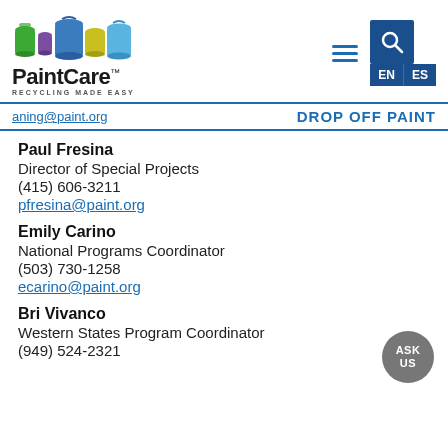PaintCare™ RECYCLING MADE EASY — EN / ES — DROP OFF PAINT
aning@paint.org
Paul Fresina
Director of Special Projects
(415) 606-3211
pfresina@paint.org
Emily Carino
National Programs Coordinator
(503) 730-1258
ecarino@paint.org
Bri Vivanco
Western States Program Coordinator
(949) 524-2321